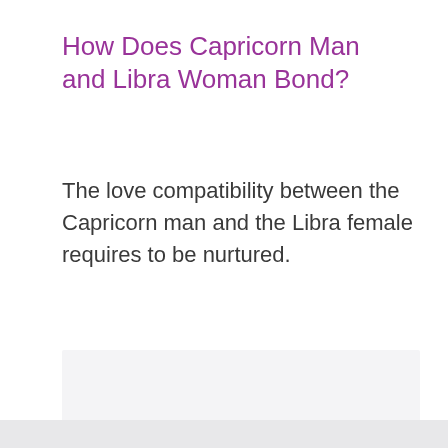How Does Capricorn Man and Libra Woman Bond?
The love compatibility between the Capricorn man and the Libra female requires to be nurtured.
[Figure (other): Light gray placeholder image box below the body text]